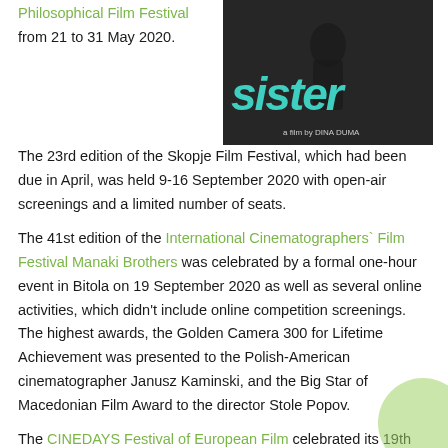Philosophical Film Festival from 21 to 31 May 2020.
[Figure (photo): Film poster showing silhouetted figure with teal text 'sister' and subtitle 'a film by DINA DUMA' on dark background]
The 23rd edition of the Skopje Film Festival, which had been due in April, was held 9-16 September 2020 with open-air screenings and a limited number of seats.
The 41st edition of the International Cinematographers` Film Festival Manaki Brothers was celebrated by a formal one-hour event in Bitola on 19 September 2020 as well as several online activities, which didn't include online competition screenings. The highest awards, the Golden Camera 300 for Lifetime Achievement was presented to the Polish-American cinematographer Janusz Kaminski, and the Big Star of Macedonian Film Award to the director Stole Popov.
The CINEDAYS Festival of European Film celebrated its 19th edition with a reduced programme from 18 to 24 September 2020, two months earlier than its regular November dates